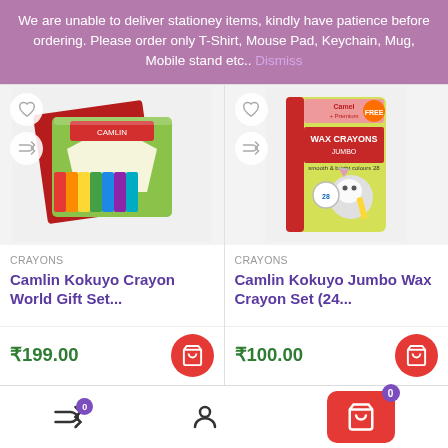We are unable to deliver stationey items, kindly have patience before ordering. Please order only T-Shirt, Mouse Pad, Keychain, Mug, Mobile stand etc.. Dismiss
[Figure (photo): Camlin Kokuyo Crayon World Gift Set product image showing colorful art supply kit in green and red box]
CRAYONS
Camlin Kokuyo Crayon World Gift Set...
₹199.00
[Figure (photo): Camlin Kokuyo Jumbo Wax Crayon Set product image showing yellow box with cartoon cat illustration]
CRAYONS
Camlin Kokuyo Jumbo Wax Crayon Set (24...
₹100.00